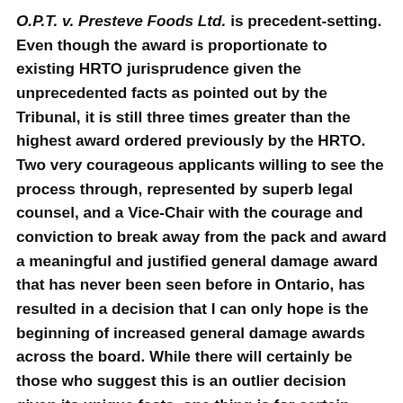O.P.T. v. Presteve Foods Ltd. is precedent-setting. Even though the award is proportionate to existing HRTO jurisprudence given the unprecedented facts as pointed out by the Tribunal, it is still three times greater than the highest award ordered previously by the HRTO. Two very courageous applicants willing to see the process through, represented by superb legal counsel, and a Vice-Chair with the courage and conviction to break away from the pack and award a meaningful and justified general damage award that has never been seen before in Ontario, has resulted in a decision that I can only hope is the beginning of increased general damage awards across the board. While there will certainly be those who suggest this is an outlier decision given its unique facts, one thing is for certain – the ceiling has been raised.